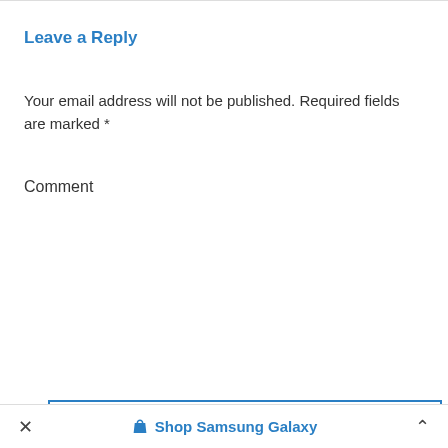Leave a Reply
Your email address will not be published. Required fields are marked *
Comment
[Figure (screenshot): Empty comment text area input box with blue border and resize handle]
× Shop Samsung Galaxy ^